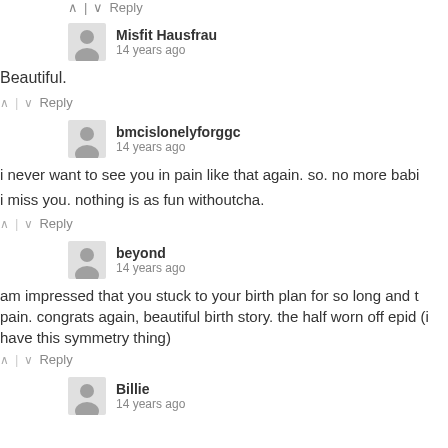^ | v Reply
Misfit Hausfrau
14 years ago
Beautiful.
^ | v Reply
bmcislonelyforggc
14 years ago
i never want to see you in pain like that again. so. no more babi

i miss you. nothing is as fun withoutcha.
^ | v Reply
beyond
14 years ago
am impressed that you stuck to your birth plan for so long and t pain. congrats again, beautiful birth story. the half worn off epid (i have this symmetry thing)
^ | v Reply
Billie
14 years ago